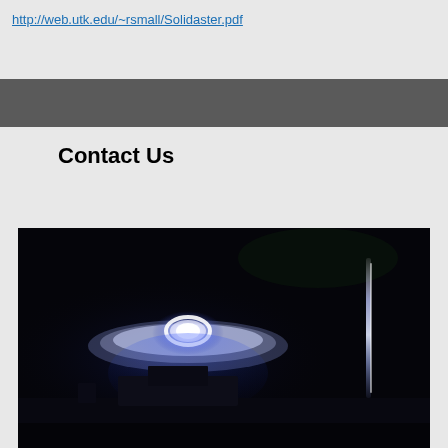http://web.utk.edu/~rsmall/Solidaster.pdf
[Figure (other): Dark gray horizontal banner bar]
Contact Us
[Figure (photo): Dark photograph showing a glowing blue-white disc/UFO-like object with bright ring center floating in darkness above a dimly lit structure or building, with a vertical bright streak on the right side]